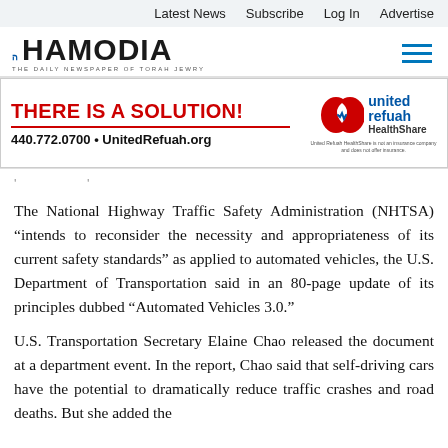Latest News   Subscribe   Log In   Advertise
[Figure (logo): Hamodia newspaper logo with Hebrew mark and tagline 'The Daily Newspaper of Torah Jewry']
[Figure (infographic): United Refuah HealthShare advertisement banner: 'THERE IS A SOLUTION!' in red, phone number 440.772.0700, UnitedRefuah.org, with United Refuah HealthShare logo on right. Disclaimer: United Refuah HealthShare is not an insurance company and does not offer insurance.]
The National Highway Traffic Safety Administration (NHTSA) “intends to reconsider the necessity and appropriateness of its current safety standards” as applied to automated vehicles, the U.S. Department of Transportation said in an 80-page update of its principles dubbed “Automated Vehicles 3.0.”
U.S. Transportation Secretary Elaine Chao released the document at a department event. In the report, Chao said that self-driving cars have the potential to dramatically reduce traffic crashes and road deaths. But she added the